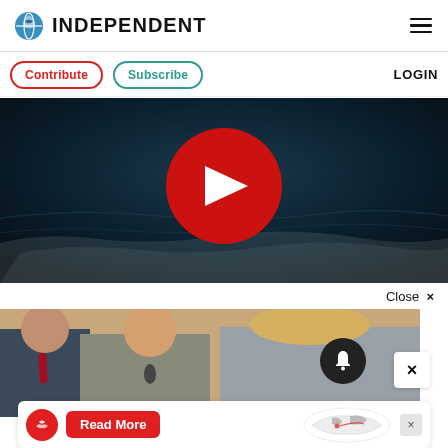INDEPENDENT
Contribute  Subscribe  LOGIN
[Figure (screenshot): Video player with dark blue ocean/smoke background and large red play button circle]
Close ×
[Figure (photo): People seated at a conference or courtroom, blurred, with notification bell icon and close X button overlay]
[Figure (other): Advertisement bar with Independent logo icon, Read More button, world map graphic, and close X]